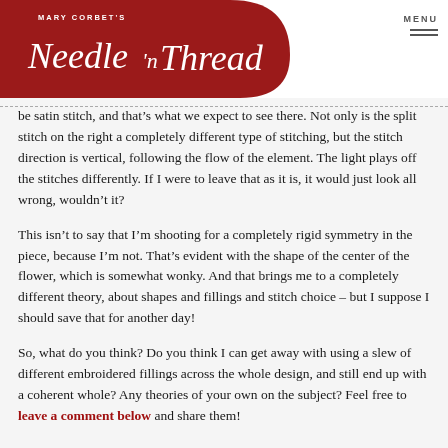Mary Corbet's Needle 'n Thread — MENU
be satin stitch, and that's what we expect to see there. Not only is the split stitch on the right a completely different type of stitching, but the stitch direction is vertical, following the flow of the element. The light plays off the stitches differently. If I were to leave that as it is, it would just look all wrong, wouldn't it?
This isn't to say that I'm shooting for a completely rigid symmetry in the piece, because I'm not. That's evident with the shape of the center of the flower, which is somewhat wonky. And that brings me to a completely different theory, about shapes and fillings and stitch choice – but I suppose I should save that for another day!
So, what do you think? Do you think I can get away with using a slew of different embroidered fillings across the whole design, and still end up with a coherent whole? Any theories of your own on the subject? Feel free to leave a comment below and share them!